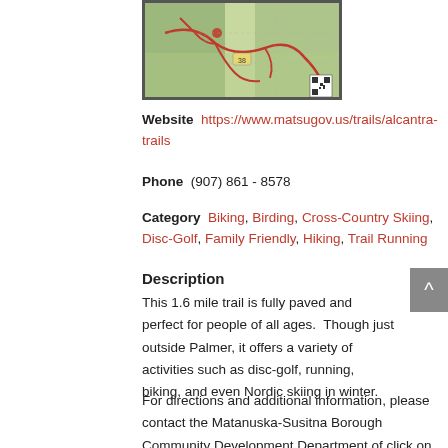[Figure (map): Trail map showing Alcantra trails with red trail lines on green/topographic background, with a QR code in the bottom right corner.]
Website  https://www.matsugov.us/trails/alcantra-trails
Phone  (907) 861 - 8578
Category  Biking, Birding, Cross-Country Skiing, Disc-Golf, Family Friendly, Hiking, Trail Running
Description
This 1.6 mile trail is fully paved and perfect for people of all ages.  Though just outside Palmer, it offers a variety of activities such as disc-golf, running, biking, and even Nordic skiing in winter.
For directions and additional information, please contact the Matanuska-Susitna Borough Community Development Department of click on the website link above.